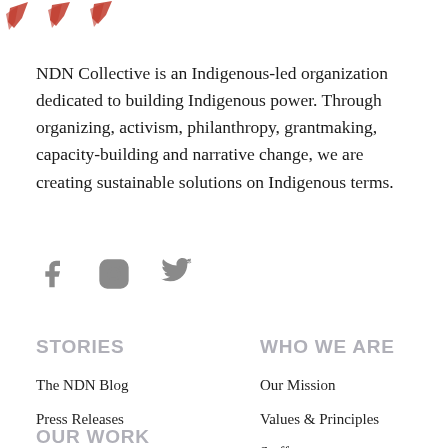[Figure (logo): NDN Collective logo — red stylized feather/arrow marks at top left]
NDN Collective is an Indigenous-led organization dedicated to building Indigenous power. Through organizing, activism, philanthropy, grantmaking, capacity-building and narrative change, we are creating sustainable solutions on Indigenous terms.
[Figure (infographic): Social media icons: Facebook, Instagram, Twitter in grey]
STORIES
The NDN Blog
Press Releases
WHO WE ARE
Our Mission
Values & Principles
Staff
OUR WORK